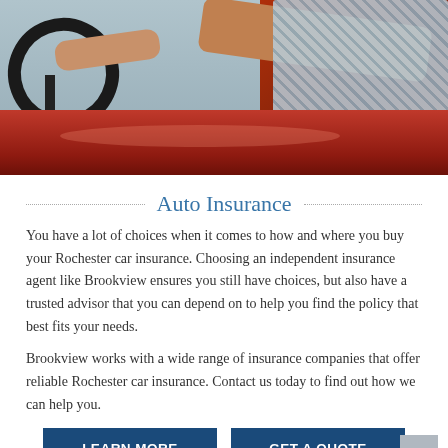[Figure (photo): Photo of a person driving a red convertible car, showing hands on steering wheel and red car body]
Auto Insurance
You have a lot of choices when it comes to how and where you buy your Rochester car insurance. Choosing an independent insurance agent like Brookview ensures you still have choices, but also have a trusted advisor that you can depend on to help you find the policy that best fits your needs.
Brookview works with a wide range of insurance companies that offer reliable Rochester car insurance. Contact us today to find out how we can help you.
LEARN MORE
GET A QUOTE